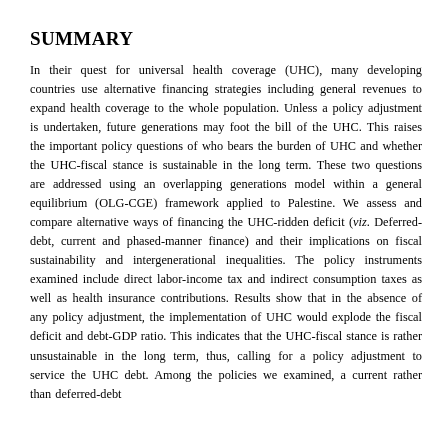SUMMARY
In their quest for universal health coverage (UHC), many developing countries use alternative financing strategies including general revenues to expand health coverage to the whole population. Unless a policy adjustment is undertaken, future generations may foot the bill of the UHC. This raises the important policy questions of who bears the burden of UHC and whether the UHC-fiscal stance is sustainable in the long term. These two questions are addressed using an overlapping generations model within a general equilibrium (OLG-CGE) framework applied to Palestine. We assess and compare alternative ways of financing the UHC-ridden deficit (viz. Deferred-debt, current and phased-manner finance) and their implications on fiscal sustainability and intergenerational inequalities. The policy instruments examined include direct labor-income tax and indirect consumption taxes as well as health insurance contributions. Results show that in the absence of any policy adjustment, the implementation of UHC would explode the fiscal deficit and debt-GDP ratio. This indicates that the UHC-fiscal stance is rather unsustainable in the long term, thus, calling for a policy adjustment to service the UHC debt. Among the policies we examined, a current rather than deferred-debt